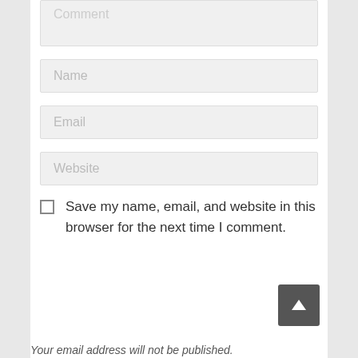[Figure (screenshot): Comment textarea input field (partially visible at top), placeholder text 'Comment']
[Figure (screenshot): Name text input field with placeholder text 'Name']
[Figure (screenshot): Email text input field with placeholder text 'Email']
[Figure (screenshot): Website text input field with placeholder text 'Website']
Save my name, email, and website in this browser for the next time I comment.
Your email address will not be published.